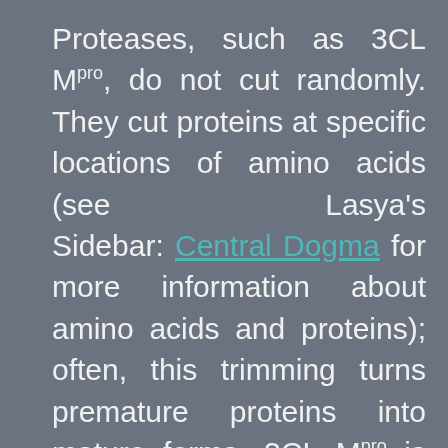Proteases, such as 3CL Mpro, do not cut randomly. They cut proteins at specific locations of amino acids (see Lasya's Sidebar: Central Dogma for more information about amino acids and proteins); often, this trimming turns premature proteins into mature forms. 3CL Mpro is produced from SARS-CoV-2 RNA within a long polyprotein chain (a premature chain of multiple proteins). 3CL Mpro cuts itself free from the